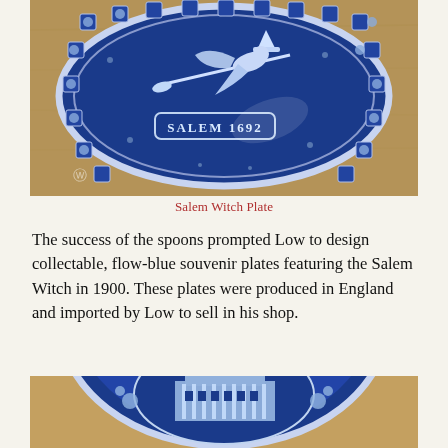[Figure (photo): Blue and white ceramic Salem Witch Plate showing a witch on a broomstick with 'SALEM 1692' inscribed, decorated border with Halloween motifs, placed on a wooden surface.]
Salem Witch Plate
The success of the spoons prompted Low to design collectable, flow-blue souvenir plates featuring the Salem Witch in 1900. These plates were produced in England and imported by Low to sell in his shop.
[Figure (photo): Blue and white ceramic souvenir plate showing a building (Custom House) in the center, with decorative border, partially visible.]